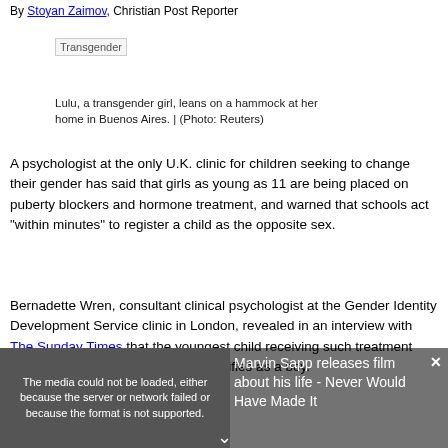By Stoyan Zaimov, Christian Post Reporter
[Figure (photo): Placeholder image labeled 'Transgender']
Lulu, a transgender girl, leans on a hammock at her home in Buenos Aires. | (Photo: Reuters)
A psychologist at the only U.K. clinic for children seeking to change their gender has said that girls as young as 11 are being placed on puberty blockers and hormone treatment, and warned that schools act "within minutes" to register a child as the opposite sex.
Bernadette Wren, consultant clinical psychologist at the Gender Identity Development Service clinic in London, revealed in an interview with The Sunday Times that the youngest child receiving such treatment there is an 11-year-old girl who identifies as a boy.
[Figure (screenshot): Media player overlay showing error message 'The media could not be loaded, either because the server or network failed or because the format is not supported.' with sidebar text 'Marvin Sapp releases film about his life - Never Would Have Made It' and a close button and chevron arrow.]